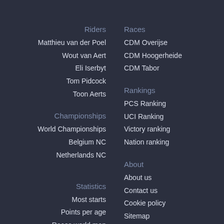Riders
Matthieu van der Poel
Wout van Aert
Eli Iserbyt
Tom Pidcock
Toon Aerts
Championships
World Championships
Belgium NC
Netherlands NC
Statistics
Most starts
Points per age
Races world map
Races
CDM Overijse
CDM Hoogerheide
CDM Tabor
Rankings
PCS Ranking
UCI Ranking
Victory ranking
Nation ranking
About
About us
Contact us
Cookie policy
Sitemap
Contributions
0.1372 seconds
now (1240kb) peak (1568kb)